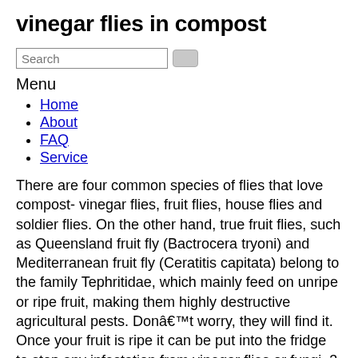vinegar flies in compost
[Figure (other): Search input field with a button]
Menu
Home
About
FAQ
Service
There are four common species of flies that love compost- vinegar flies, fruit flies, house flies and soldier flies. On the other hand, true fruit flies, such as Queensland fruit fly (Bactrocera tryoni) and Mediterranean fruit fly (Ceratitis capitata) belong to the family Tephritidae, which mainly feed on unripe or ripe fruit, making them highly destructive agricultural pests. Donât worry, they will find it. Once your fruit is ripe it can be put into the fridge to stop any infestation from vinegar flies or fungi. 3 answers. If youâve found some vinegar flies buzzing around your composting toilet, itâs a good idea to deal with them sooner rather than later as they breed very quickly and the females can lay up to 400 eggs which will hatch 12-15 hours later. Leave your compost heap alone long enough and you could have a scene out of CSI in the back of your